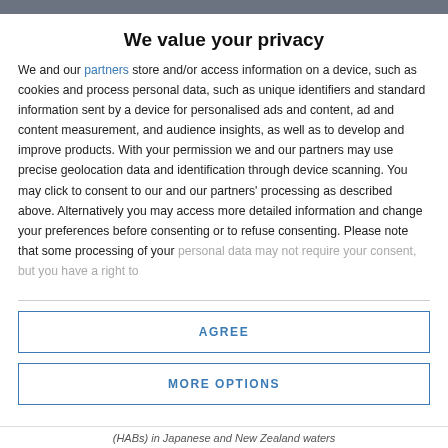We value your privacy
We and our partners store and/or access information on a device, such as cookies and process personal data, such as unique identifiers and standard information sent by a device for personalised ads and content, ad and content measurement, and audience insights, as well as to develop and improve products. With your permission we and our partners may use precise geolocation data and identification through device scanning. You may click to consent to our and our partners' processing as described above. Alternatively you may access more detailed information and change your preferences before consenting or to refuse consenting. Please note that some processing of your personal data may not require your consent, but you have a right to
AGREE
MORE OPTIONS
(HABs) in Japanese and New Zealand waters